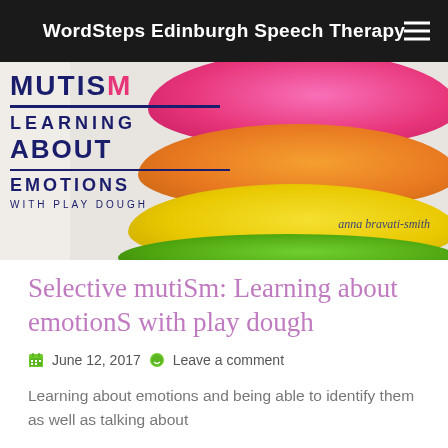WordSteps Edinburgh Speech Therapy
[Figure (photo): Book cover showing stacked colourful play dough balls (pink, orange, yellow, green) with text overlay: MUTISM LEARNING ABOUT EMOTIONS WITH PLAY DOUGH, by anna bravati-smith]
Selective mutism: Learning about emotions with play dough
June 12, 2017   Leave a comment
Learning about emotions and being able to identify them as well as talking about